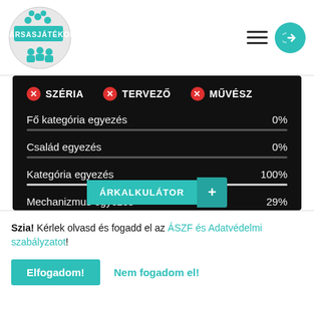[Figure (logo): Társasjátékok circular logo with teal banner and board game icons]
[Figure (infographic): Hamburger menu icon and teal circular login button with arrow]
✖ SZÉRIA   ✖ TERVEZŐ   ✖ MŰVÉSZ
Fő kategória egyezés   0%
Család egyezés   0%
Kategória egyezés   100%
Mechanizmus egyezés   29%
Alap adat egyezés   83%
ÁRKALKULÁTOR +
Szia! Kérlek olvasd és fogadd el az ÁSZF és Adatvédelmi szabályzatot!
Elfogadom!
Nem fogadom el!